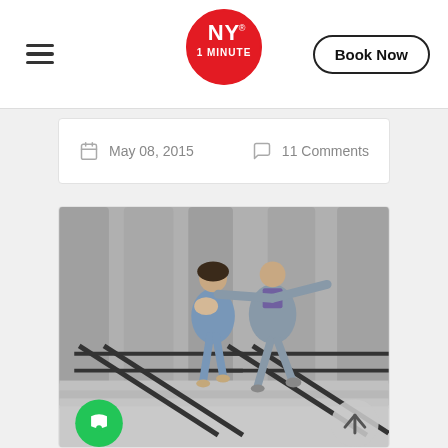NY 1 MINUTE — Book Now
May 08, 2015   11 Comments
[Figure (photo): A joyful couple posing on the steps of a columned building (likely a courthouse or civic building in New York). The woman in a blue dress holds a small dog while the man in a grey suit leaps exuberantly with arms spread wide. Black metal railings are visible on the steps.]